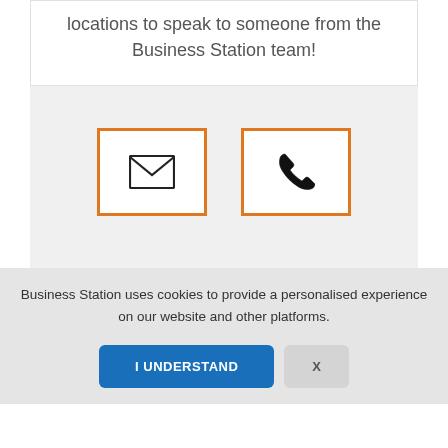locations to speak to someone from the Business Station team!
[Figure (infographic): Two orange-bordered white boxes side by side: one with an envelope/email icon, one with a phone handset icon, on a light gray background.]
Business Station uses cookies to provide a personalised experience on our website and other platforms.
I UNDERSTAND
X